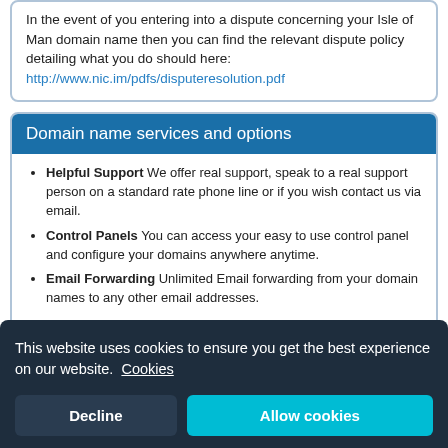In the event of you entering into a dispute concerning your Isle of Man domain name then you can find the relevant dispute policy detailing what you do should here: http://www.nic.im/pdfs/disputeresolution.pdf
Domain name services and options
Helpful Support We offer real support, speak to a real support person on a standard rate phone line or if you wish contact us via email.
Control Panels You can access your easy to use control panel and configure your domains anywhere anytime.
Email Forwarding Unlimited Email forwarding from your domain names to any other email addresses.
Change your DNS to any host Choose ANY hosting provider and let us manage just your domain name if required.
This website uses cookies to ensure you get the best experience on our website. Cookies